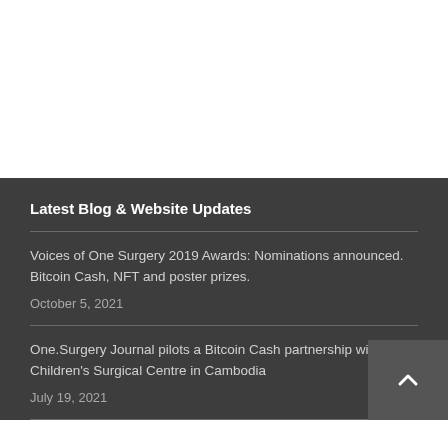Latest Blog & Website Updates
Voices of One Surgery 2019 Awards: Nominations announced. Bitcoin Cash, NFT and poster prizes.
October 5, 2021
One.Surgery Journal pilots a Bitcoin Cash partnership with the Children's Surgical Centre in Cambodia
July 19, 2021